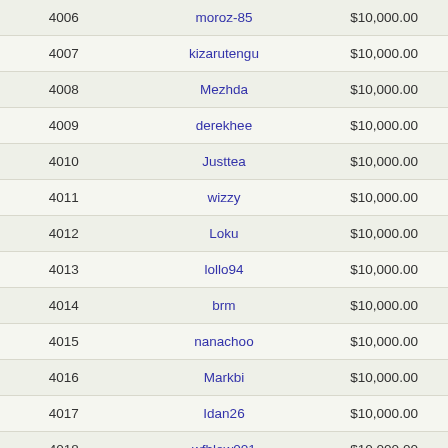| 4006 | moroz-85 | $10,000.00 |
| 4007 | kizarutengu | $10,000.00 |
| 4008 | Mezhda | $10,000.00 |
| 4009 | derekhee | $10,000.00 |
| 4010 | Justtea | $10,000.00 |
| 4011 | wizzy | $10,000.00 |
| 4012 | Loku | $10,000.00 |
| 4013 | lollo94 | $10,000.00 |
| 4014 | brm | $10,000.00 |
| 4015 | nanachoo | $10,000.00 |
| 4016 | Markbi | $10,000.00 |
| 4017 | Idan26 | $10,000.00 |
| 4018 | wfblow001 | $10,000.00 |
| 4019 | Jansonn | $10,000.00 |
| 4020 | yellowfin | $10,000.00 |
| 4021 | Coco | $10,000.00 |
| 4022 | betbagus | $10,000.00 |
| 4023 | lobangong | $10,000.00 |
| 4024 | rodator | $10,000.00 |